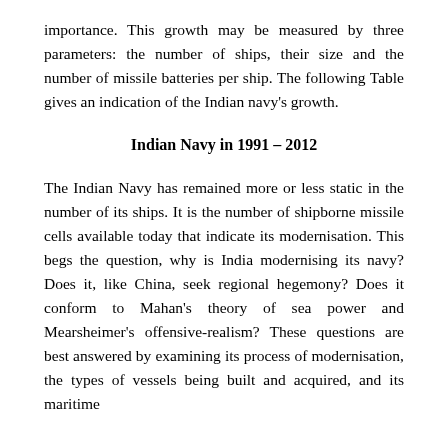importance. This growth may be measured by three parameters: the number of ships, their size and the number of missile batteries per ship. The following Table gives an indication of the Indian navy's growth.
Indian Navy in 1991 – 2012
The Indian Navy has remained more or less static in the number of its ships. It is the number of ship-borne missile cells available today that indicate its modernisation. This begs the question, why is India modernising its navy? Does it, like China, seek regional hegemony? Does it conform to Mahan's theory of sea power and Mearsheimer's offensive-realism? These questions are best answered by examining its process of modernisation, the types of vessels being built and acquired, and its maritime